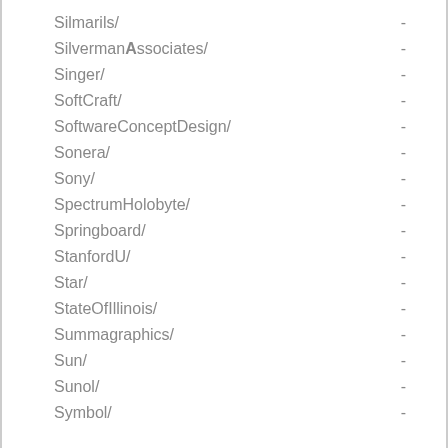Silmarils/ -
SilvermanAssociates/ -
Singer/ -
SoftCraft/ -
SoftwareConceptDesign/ -
Sonera/ -
Sony/ -
SpectrumHolobyte/ -
Springboard/ -
StanfordU/ -
Star/ -
StateOfIllinois/ -
Summagraphics/ -
Sun/ -
Sunol/ -
Symbol/ -